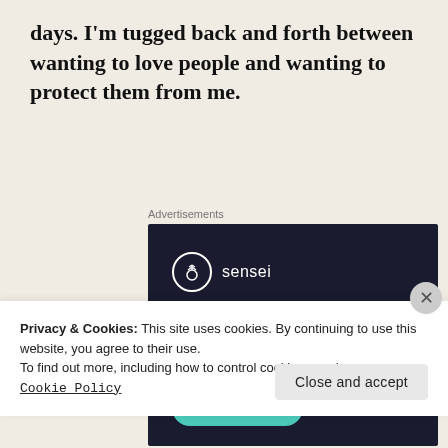days. I'm tugged back and forth between wanting to love people and wanting to protect them from me.
Advertisements
[Figure (screenshot): Sensei advertisement with dark navy background showing a tree/bonsai logo circle, brand name 'sensei', headline 'Launch your online course with WordPress' in teal, and a teal 'Learn More' button.]
Privacy & Cookies: This site uses cookies. By continuing to use this website, you agree to their use.
To find out more, including how to control cookies, see here:
Cookie Policy
Close and accept